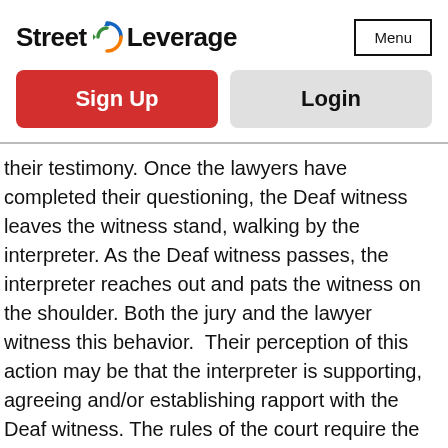Street Leverage | Menu
[Figure (logo): Street Leverage logo with circular arrow icon in blue, green, and orange]
Sign Up
Login
their testimony. Once the lawyers have completed their questioning, the Deaf witness leaves the witness stand, walking by the interpreter. As the Deaf witness passes, the interpreter reaches out and pats the witness on the shoulder. Both the jury and the lawyer witness this behavior. Their perception of this action may be that the interpreter is supporting, agreeing and/or establishing rapport with the Deaf witness. The rules of the court require the interpreter to remain neutral. I know that is considered a bad word, but the court system requires neutrality. The interpreter may simply be trying give comfort and support in an oppressive